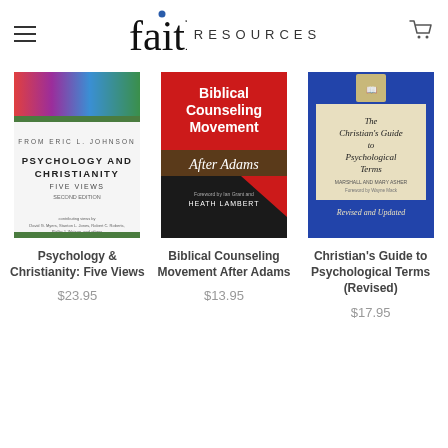faith RESOURCES
[Figure (illustration): Book cover: Psychology and Christianity: Five Views]
Psychology & Christianity: Five Views
$23.95
[Figure (illustration): Book cover: Biblical Counseling Movement After Adams]
Biblical Counseling Movement After Adams
$13.95
[Figure (illustration): Book cover: Christian's Guide to Psychological Terms (Revised)]
Christian's Guide to Psychological Terms (Revised)
$17.95